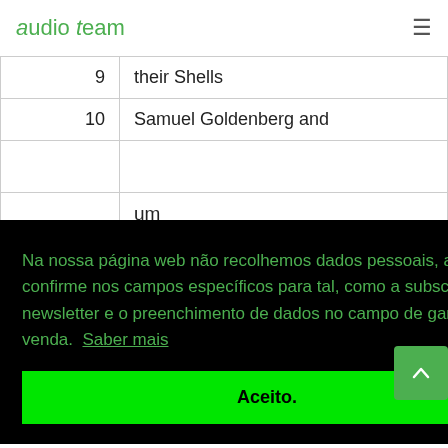Audio Team
| 9 | their Shells |
| 10 | Samuel Goldenberg and |
|  | um |
|  | Com mortuis in lingua |
Na nossa página web não recolhemos dados pessoais, a não ser que o confirme nos campos específicos para tal, como a subscrição da nossa newsletter e o preenchimento de dados no campo de garantia/pós venda. Saber mais
Aceito.